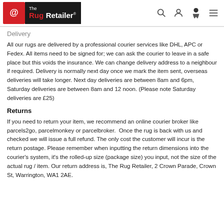The Rug Retailer
Delivery
All our rugs are delivered by a professional courier services like DHL, APC or Fedex. All items need to be signed for; we can ask the courier to leave in a safe place but this voids the insurance. We can change delivery address to a neighbour if required. Delivery is normally next day once we mark the item sent, overseas deliveries will take longer. Next day deliveries are between 8am and 6pm, Saturday deliveries are between 8am and 12 noon. (Please note Saturday deliveries are £25)
Returns
If you need to return your item, we recommend an online courier broker like parcels2go, parcelmonkey or parcelbroker.  Once the rug is back with us and checked we will issue a full refund. The only cost the customer will incur is the return postage. Please remember when inputting the return dimensions into the courier's system, it's the rolled-up size (package size) you input, not the size of the actual rug / item. Our return address is, The Rug Retailer, 2 Crown Parade, Crown St, Warrington, WA1 2AE.